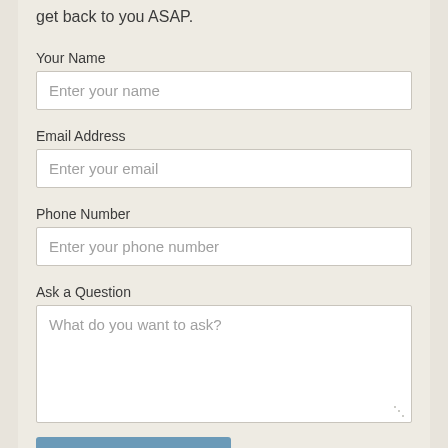get back to you ASAP.
Your Name
Enter your name
Email Address
Enter your email
Phone Number
Enter your phone number
Ask a Question
What do you want to ask?
Submit